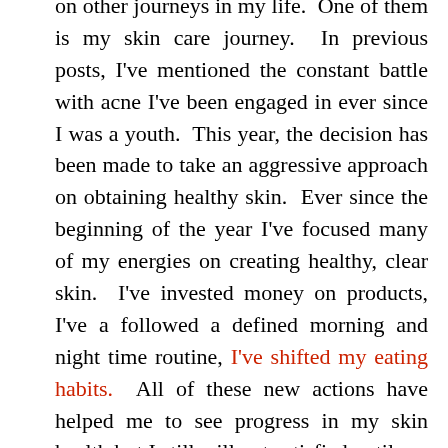on other journeys in my life.  One of them is my skin care journey.  In previous posts, I've mentioned the constant battle with acne I've been engaged in ever since I was a youth.  This year, the decision has been made to take an aggressive approach on obtaining healthy skin.  Ever since the beginning of the year I've focused many of my energies on creating healthy, clear skin.  I've invested money on products, I've a followed a defined morning and night time routine, I've shifted my eating habits.  All of these new actions have helped me to see progress in my skin health but I still will not satisfied until my skin is flawless.
Along with all the actions I was taking to help my skin, I also created some affirmations that I recited on a regular basis. I would say things like "I have clear...